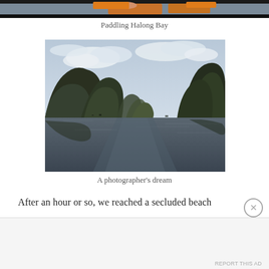[Figure (photo): Top portion of a photo showing people paddling a kayak in Halong Bay – only hands and tops of orange kayak visible at top of page]
Paddling Halong Bay
[Figure (photo): Scenic photograph of Halong Bay, Vietnam, showing limestone karst islands rising from calm dark water, overcast sky with clouds]
A photographer's dream
After an hour or so, we reached a secluded beach
Advertisements
AUTOMATTIC
Build a better web and a better world.
REPORT THIS AD